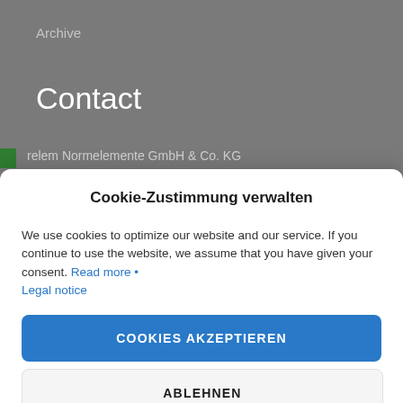Archive
Contact
relem Normelemente GmbH & Co. KG
Cookie-Zustimmung verwalten
We use cookies to optimize our website and our service. If you continue to use the website, we assume that you have given your consent. Read more • Legal notice
COOKIES AKZEPTIEREN
ABLEHNEN
EINSTELLUNGEN ANZEIGEN